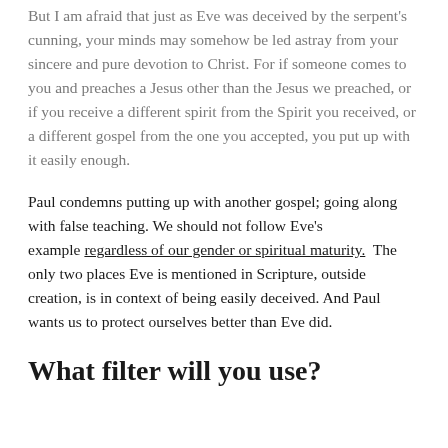But I am afraid that just as Eve was deceived by the serpent's cunning, your minds may somehow be led astray from your sincere and pure devotion to Christ. For if someone comes to you and preaches a Jesus other than the Jesus we preached, or if you receive a different spirit from the Spirit you received, or a different gospel from the one you accepted, you put up with it easily enough.
Paul condemns putting up with another gospel; going along with false teaching. We should not follow Eve's example regardless of our gender or spiritual maturity. The only two places Eve is mentioned in Scripture, outside creation, is in context of being easily deceived. And Paul wants us to protect ourselves better than Eve did.
What filter will you use?